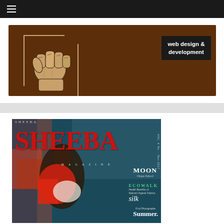☰ (hamburger menu)
[Figure (illustration): Banner ad with a raised fist illustration on a dark brown background with the text 'web design & development' in a dark box on the right side]
[Figure (photo): Magazine cover of SHEEBA magazine featuring a woman in a red jacket seated against a colorful mural background, with text including MOON, Olegas Dahool, ECOWALK, Health Benefits of Natural Organic Fabrics, silk, K'rol Photographe, Summer]